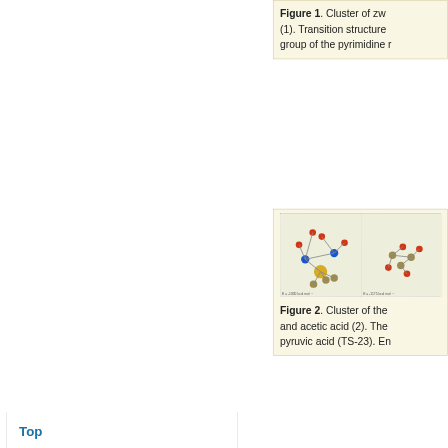Figure 1. Cluster of zwitterionic thiamine (1). Transition structure group of the pyrimidine ring
[Figure (illustration): Two molecular structure panels showing 3D ball-and-stick models of chemical compounds with colored atoms (red, blue, yellow, green/tan)]
Figure 2. Cluster of the and acetic acid (2). The pyruvic acid (TS-23). En
[Figure (illustration): Partial view of molecular structure panels showing 3D ball-and-stick models]
Top
ABSTRACT
INTRODUCTION
METHODS OF CALCULATION
RESULTS AND DISCUSSION
E-Mail Alert   Join Peer-Review Program